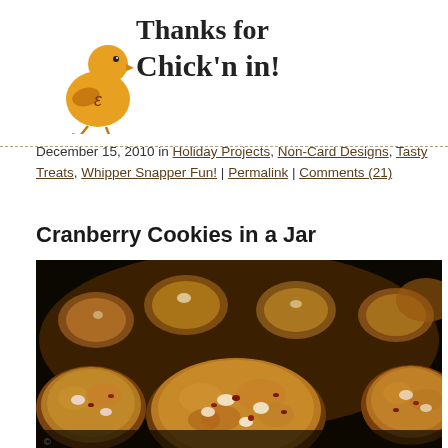[Figure (logo): Cartoon chick logo with handwritten text 'Thanks for Chick'n in!']
December 15, 2010 in Holiday Projects, Non-Card Designs, Tasty Treats, Whipper Snapper Fun! | Permalink | Comments (21)
Cranberry Cookies in a Jar
[Figure (photo): Close-up photograph of cranberry cookies on a baking sheet, showing golden-brown cookies with white chocolate chips and cranberries]